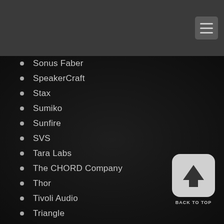Sonus Faber
SpeakerCraft
Stax
Sumiko
Sunfire
SVS
Tara Labs
The CHORD Company
Thor
Tivoli Audio
Triangle
Vogel's
Voodoo Cable
Wadia
Westinghouse
Wilson Benesch